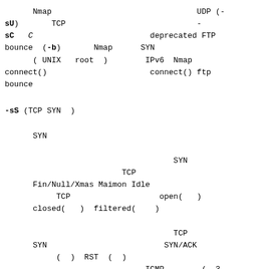Nmap                               UDP (-
sU)       TCP                            -
sC   C                         deprecated FTP
bounce  (-b)       Nmap      SYN
      ( UNIX   root  )        IPv6  Nmap
connect()                      connect() ftp
bounce
-sS (TCP SYN  )
SYN

                                    SYN
                         TCP
      Fin/Null/Xmas Maimon Idle
           TCP                   open(   )
      closed(   )  filtered(    )

                                    TCP
      SYN                         SYN/ACK
           (  )  RST  (  )
                              ICMP        (  3
      1  2  3  9  10     13)